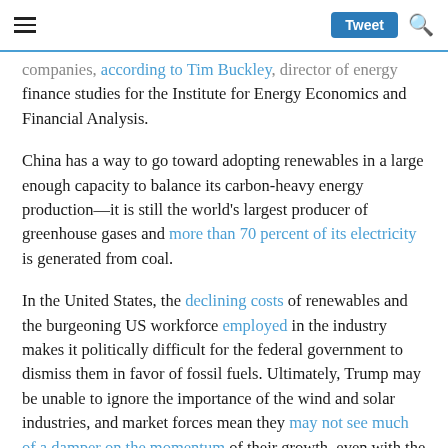≡  Tweet 🔍
companies, according to Tim Buckley, director of energy finance studies for the Institute for Energy Economics and Financial Analysis.
China has a way to go toward adopting renewables in a large enough capacity to balance its carbon-heavy energy production—it is still the world's largest producer of greenhouse gases and more than 70 percent of its electricity is generated from coal.
In the United States, the declining costs of renewables and the burgeoning US workforce employed in the industry makes it politically difficult for the federal government to dismiss them in favor of fossil fuels. Ultimately, Trump may be unable to ignore the importance of the wind and solar industries, and market forces mean they may not see much of a damper on the momentum of their growth, even with the cancellation of the Clean Power Plan and the abandonment of major Obama-era regulatory policies that favored clean energy.